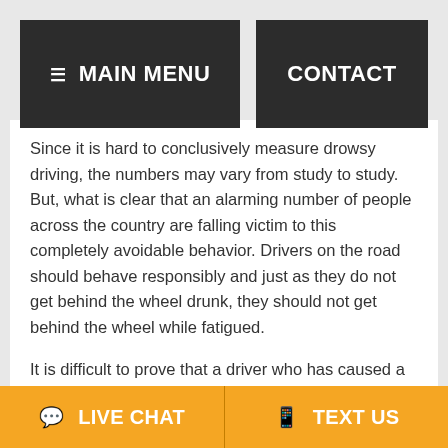≡ MAIN MENU | CONTACT
Since it is hard to conclusively measure drowsy driving, the numbers may vary from study to study. But, what is clear that an alarming number of people across the country are falling victim to this completely avoidable behavior. Drivers on the road should behave responsibly and just as they do not get behind the wheel drunk, they should not get behind the wheel while fatigued.
It is difficult to prove that a driver who has caused a car accident is drowsy or fatigued. But, it may be beneficial for accident victims to consider consulting an experienced attorney who can guide an investigation for
💬 LIVE CHAT | 📱 TEXT US